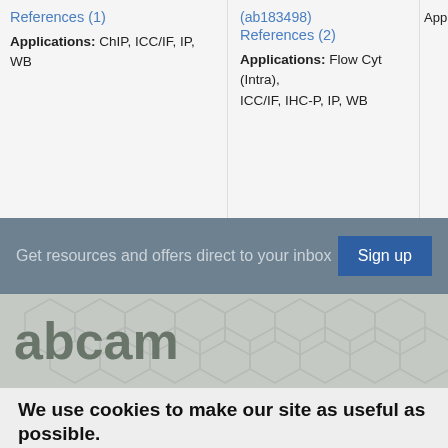References (1)
Applications: ChIP, ICC/IF, IP, WB
(ab183498)
References (2)
Applications: Flow Cyt (Intra), ICC/IF, IHC-P, IP, WB
Applica...
Get resources and offers direct to your inbox
Sign up
[Figure (logo): abcam logo on grey hexagonal patterned background]
We use cookies to make our site as useful as possible.
Our Cookie Policy explains how you can opt-out of the cookies we use. If you continue without changing your cookie settings, we'll assume you're happy with this.
Accept All Cookies